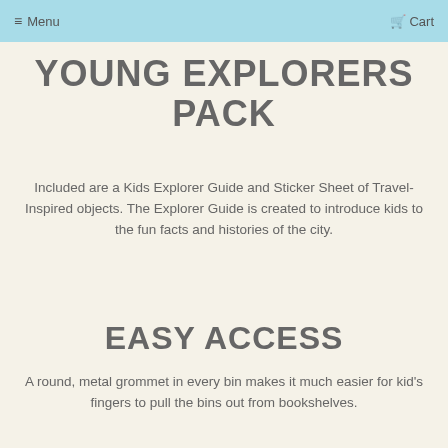Menu  Cart
YOUNG EXPLORERS PACK
Included are a Kids Explorer Guide and Sticker Sheet of Travel-Inspired objects. The Explorer Guide is created to introduce kids to the fun facts and histories of the city.
EASY ACCESS
A round, metal grommet in every bin makes it much easier for kid's fingers to pull the bins out from bookshelves.